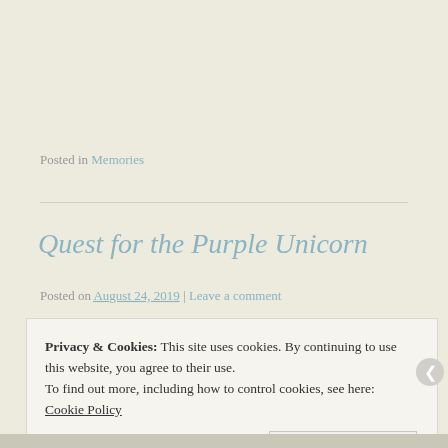Posted in Memories
Quest for the Purple Unicorn
Posted on August 24, 2019 | Leave a comment
Privacy & Cookies: This site uses cookies. By continuing to use this website, you agree to their use.
To find out more, including how to control cookies, see here: Cookie Policy
Close and accept